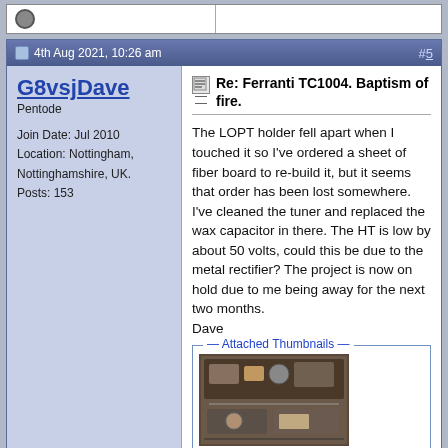4th Aug 2021, 10:26 am  #5
G8vsjDave
Pentode
Join Date: Jul 2010
Location: Nottingham, Nottinghamshire, UK.
Posts: 153
Re: Ferranti TC1004. Baptism of fire.
The LOPT holder fell apart when I touched it so I've ordered a sheet of fiber board to re-build it, but it seems that order has been lost somewhere. I've cleaned the tuner and replaced the wax capacitor in there. The HT is low by about 50 volts, could this be due to the metal rectifier? The project is now on hold due to me being away for the next two months.
Dave
Attached Thumbnails
[Figure (photo): Two photos of internal electronics of a vintage TV or radio, showing components, tuner, and chassis.]